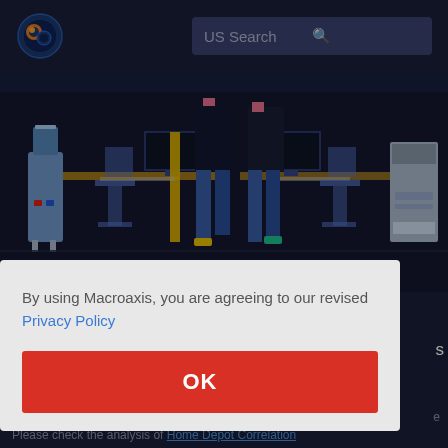[Figure (screenshot): Macroaxis website header with logo (orange and blue globe icon) on dark navy background and a search bar labeled 'US Search' with magnifying glass icon]
[Figure (illustration): Flat design illustration of an office environment on dark background showing two people walking through a turnstile gate, with desks, monitors, chairs, a water cooler on the left, and a printer/copier on the right. Yellow barrier poles are visible.]
By capturing your risk tolerance and investment horizon Macroaxis technology of instant portfolio
By using Macroaxis, you are agreeing to our revised Privacy Policy
OK
Please check the analysis of Home Depot Correlation